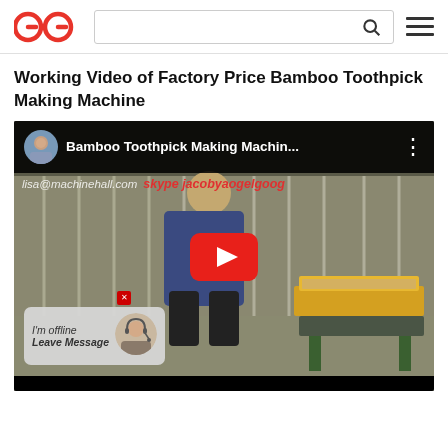GG logo, search bar, hamburger menu
Working Video of Factory Price Bamboo Toothpick Making Machine
[Figure (screenshot): YouTube video thumbnail/player showing a worker operating a bamboo toothpick making machine. Video title: 'Bamboo Toothpick Making Machin...' Overlay text: 'lisa@machinehall.com  skype jacobyaogelgoog'. A red YouTube play button is visible in the center. A chat widget in the bottom-left reads 'I'm offline / Leave Message' with a female avatar.]